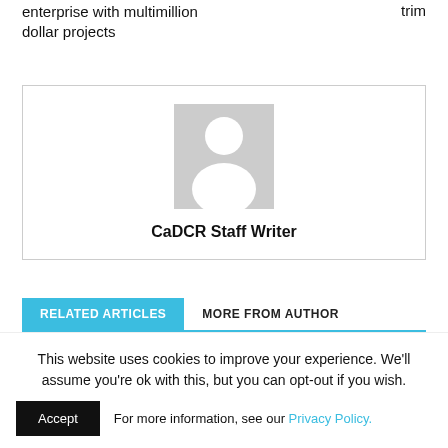enterprise with multimillion dollar projects
trim
[Figure (illustration): Author profile card with placeholder avatar (grey silhouette person icon) and name CaDCR Staff Writer]
CaDCR Staff Writer
RELATED ARTICLES   MORE FROM AUTHOR
This website uses cookies to improve your experience. We'll assume you're ok with this, but you can opt-out if you wish. Accept   For more information, see our Privacy Policy.